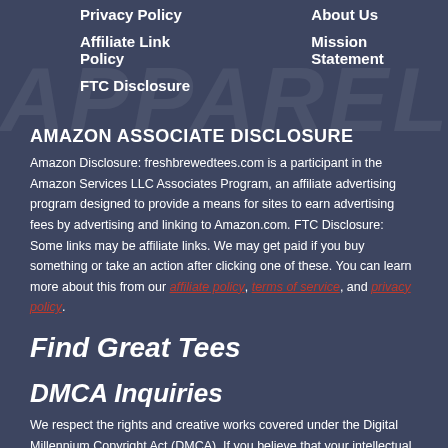Privacy Policy
Affiliate Link Policy
FTC Disclosure
About Us
Mission Statement
AMAZON ASSOCIATE DISCLOSURE
Amazon Disclosure: freshbrewedtees.com is a participant in the Amazon Services LLC Associates Program, an affiliate advertising program designed to provide a means for sites to earn advertising fees by advertising and linking to Amazon.com. FTC Disclosure: Some links may be affiliate links. We may get paid if you buy something or take an action after clicking one of these. You can learn more about this from our affiliate policy, terms of service, and privacy policy.
Find Great Tees
DMCA Inquiries
We respect the rights and creative works covered under the Digital Millennium Copyright Act (DMCA). If you believe that your intellectual property rights have been violated by any of the third party content on